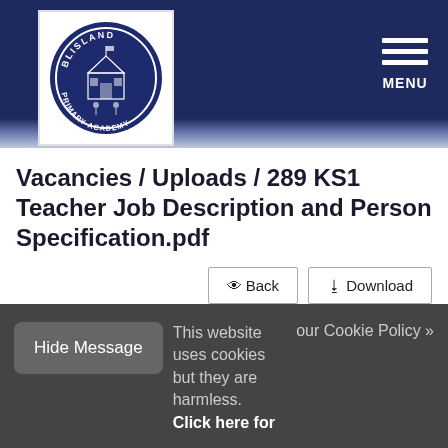[Figure (logo): Blisland Primary Academy circular logo with blue border and school crest illustration]
MENU
Vacancies / Uploads / 289 KS1 Teacher Job Description and Person Specification.pdf
Back  Download
Hide Message  This website uses cookies but they are harmless.  Click here for our Cookie Policy »